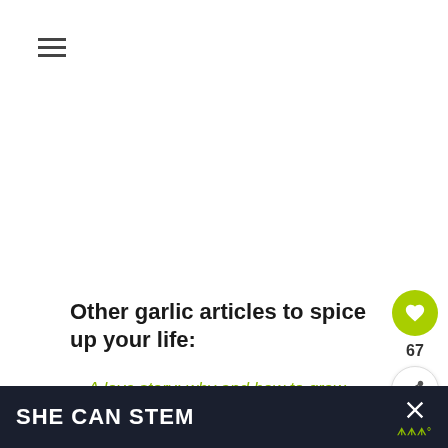≡
Other garlic articles to spice up your life:
A love story: why and how to grow hardneck garlic
[Figure (other): Heart/like button with green circle background showing 67 count, and share button below]
SHE CAN STEM ×